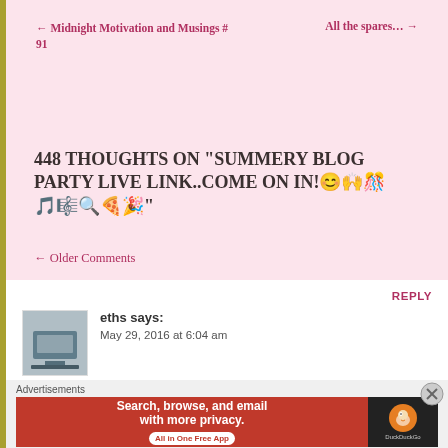← Midnight Motivation and Musings # 91
All the spares… →
448 THOUGHTS ON "SUMMERY BLOG PARTY LIVE LINK..COME ON IN!😊🙌🎊🎵🎼🔍🍕🎉"
← Older Comments
REPLY
eths says:
May 29, 2016 at 6:04 am
Advertisements
[Figure (screenshot): DuckDuckGo advertisement banner: 'Search, browse, and email with more privacy. All in One Free App' with DuckDuckGo logo on dark background]